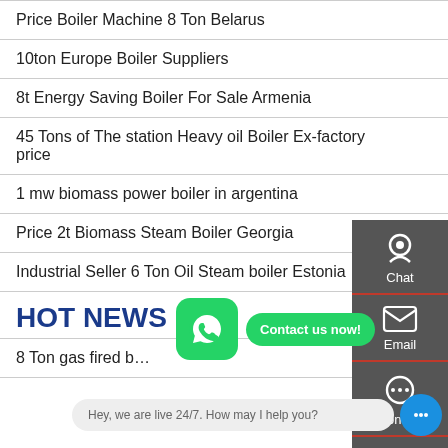Price Boiler Machine 8 Ton Belarus
10ton Europe Boiler Suppliers
8t Energy Saving Boiler For Sale Armenia
45 Tons of The station Heavy oil Boiler Ex-factory price
1 mw biomass power boiler in argentina
Price 2t Biomass Steam Boiler Georgia
Industrial Seller 6 Ton Oil S...oiler Estonia
HOT NEWS
8 Ton gas fired b...
[Figure (infographic): Dark sidebar with Chat, Email, Contact, and Top navigation icons]
[Figure (infographic): WhatsApp green button and Contact us now! popup bubble]
[Figure (infographic): Live chat bar at bottom: Hey, we are live 24/7. How may I help you?]